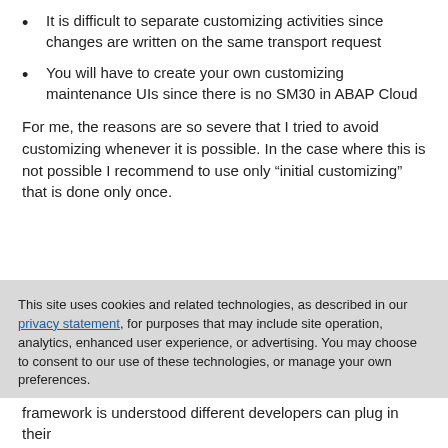It is difficult to separate customizing activities since changes are written on the same transport request
You will have to create your own customizing maintenance UIs since there is no SM30 in ABAP Cloud
For me, the reasons are so severe that I tried to avoid customizing whenever it is possible. In the case where this is not possible I recommend to use only “initial customizing” that is done only once.
This site uses cookies and related technologies, as described in our privacy statement, for purposes that may include site operation, analytics, enhanced user experience, or advertising. You may choose to consent to our use of these technologies, or manage your own preferences.
Accept Cookies
More Information
Privacy Policy | Powered by: TrustArc
framework is understood different developers can plug in their